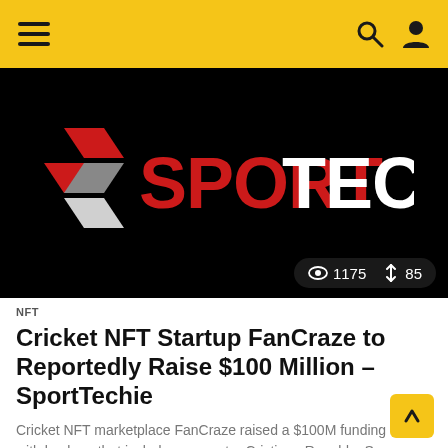SportTechie navigation bar with hamburger menu, search and user icons
[Figure (logo): SportTechie logo on black background — red and white geometric S icon on left, text SPORT in red and TECHIE in white, bold sans-serif]
1175 views  85 shares
NFT
Cricket NFT Startup FanCraze to Reportedly Raise $100 Million – SportTechie
Cricket NFT marketplace FanCraze raised a $100M funding round with backers that include soccer star Cristiano Ronaldo. Source link